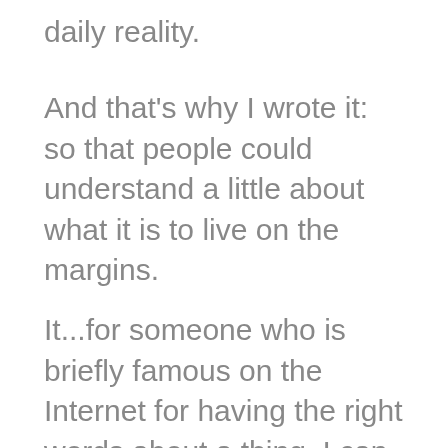daily reality.
And that's why I wrote it: so that people could understand a little about what it is to live on the margins.
It...for someone who is briefly famous on the Internet for having the right words about a thing, I can find none here. You have no reason to do this. None at